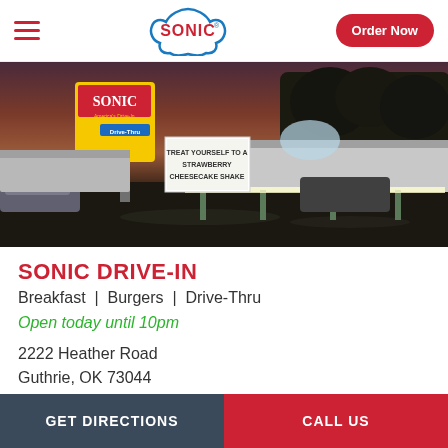[Figure (logo): Sonic Drive-In logo — blue outline squarish star shape with SONIC text in red on white background]
Order Now
[Figure (photo): Sonic Drive-In restaurant exterior at dusk/night, illuminated canopy, sign showing TREAT YOURSELF TO A STRAWBERRY CHEESECAKE SHAKE, wet parking lot, cars visible]
SONIC DRIVE-IN
Breakfast  |  Burgers  |  Drive-Thru
Open today until 10pm
2222 Heather Road
Guthrie, OK 73044
GET DIRECTIONS
CALL US